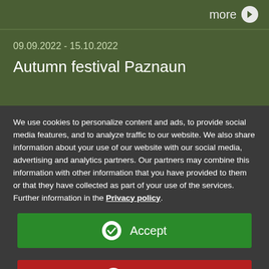more ›
09.09.2022 - 15.10.2022
Autumn festival Paznaun
We use cookies to personalize content and ads, to provide social media features, and to analyze traffic to our website. We also share information about your use of our website with our social media, advertising and analytics partners. Our partners may combine this information with other information that you have provided to them or that they have collected as part of your use of the services. Further information in the Privacy policy.
Accept
Reject
Edit settings...